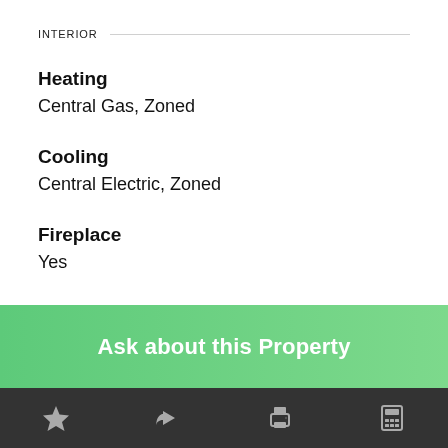INTERIOR
Heating
Central Gas, Zoned
Cooling
Central Electric, Zoned
Fireplace
Yes
# of Fireplaces
3
Ask about this Property